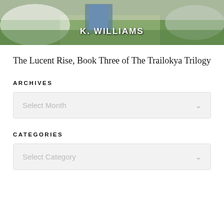[Figure (photo): Book cover image showing a fantasy scene with an angelic or white-winged creature, green grass, and a blue door in the background. Author name 'K. WILLIAMS' displayed in white bold text.]
The Lucent Rise, Book Three of The Trailokya Trilogy
ARCHIVES
Select Month
CATEGORIES
Select Category